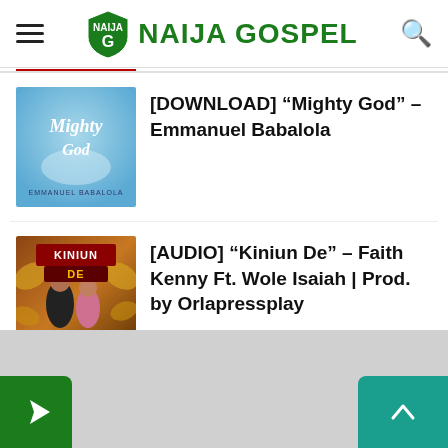NAIJA GOSPEL
[Figure (illustration): Thumbnail for Mighty God song by Emmanuel Babalola — light blue background with cursive 'Mighty God' text]
[DOWNLOAD] “Mighty God” – Emmanuel Babalola
[Figure (illustration): Thumbnail for Kiniun De song by Faith Kenny ft. Wole Isaiah — orange/dark background with two persons and 'KINIUN DE' text]
[AUDIO] “Kiniun De” – Faith Kenny Ft. Wole Isaiah | Prod. by Orlapressplay